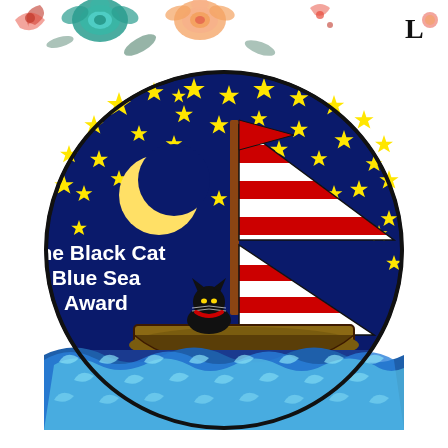[Figure (illustration): Decorative floral header banner with colorful flowers (teal, peach, red) and a letter L on the right side, on a white background.]
[Figure (illustration): The Black Cat Blue Sea Award badge: a circular emblem with a dark blue starry night sky background filled with yellow stars, a yellow crescent moon on the left, a sailboat with red and white striped sails on a brown hull, a black cat wearing a red collar sitting at the base of the mast, stylized blue ocean waves at the bottom, and white bold text reading 'The Black Cat Blue Sea Award' on the left side.]